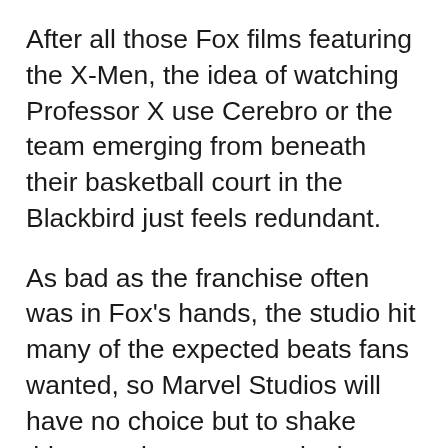After all those Fox films featuring the X-Men, the idea of watching Professor X use Cerebro or the team emerging from beneath their basketball court in the Blackbird just feels redundant.
As bad as the franchise often was in Fox's hands, the studio hit many of the expected beats fans wanted, so Marvel Studios will have no choice but to shake things up in an eventual reboot.
In recent comics, mutants have established a nation on the sentient island of Krakoa, using portals to travel across the globe. Charles Xavier, meanwhile, has found a way for the Children of the Atom to cheat death. Like Wonder Woman hiding out on Themyscira